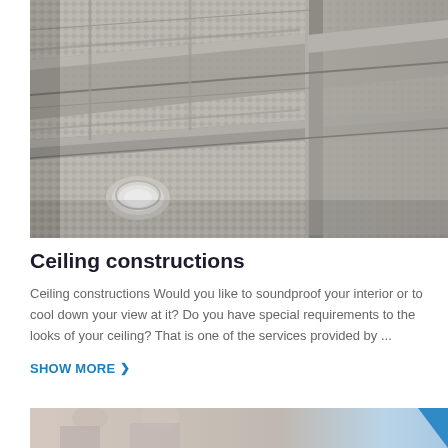[Figure (photo): Close-up photograph of a metal mesh ceiling construction with grid framework, structural beams, and a recessed circular light fixture visible in the lower left corner.]
Ceiling constructions
Ceiling constructions Would you like to soundproof your interior or to cool down your view at it? Do you have special requirements to the looks of your ceiling? That is one of the services provided by ...
SHOW MORE
[Figure (photo): Partial view of a second image at the bottom of the page showing workers or a construction scene, partially cropped.]